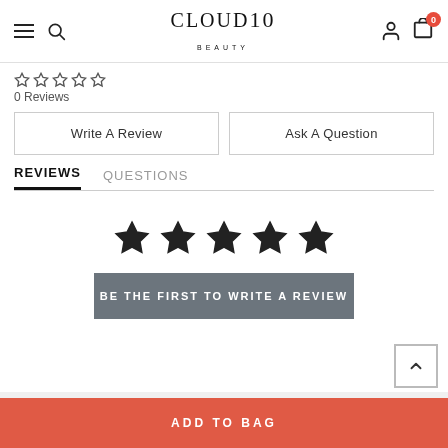CLOUD10 BEAUTY
[Figure (other): Five empty star rating icons (small, outline style)]
0 Reviews
Write A Review
Ask A Question
REVIEWS  QUESTIONS
[Figure (other): Five filled black star icons (large, rating prompt)]
BE THE FIRST TO WRITE A REVIEW
ADD TO BAG